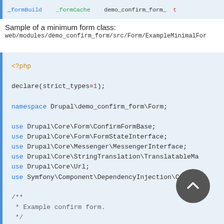[Figure (screenshot): Top code block showing truncated PHP code with blue and green highlighted syntax]
Sample of a minimum form class:
web/modules/demo_confirm_form/src/Form/ExampleMinimalFor
[Figure (screenshot): PHP code block showing declare(strict_types=1), namespace Drupal\demo_confirm_form\Form, multiple use statements for Drupal core classes, and beginning of a docblock comment for Example confirm form.]